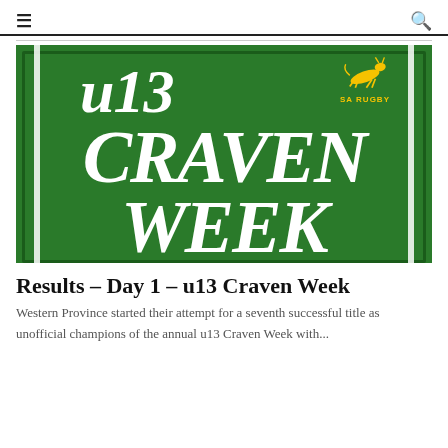≡  🔍
[Figure (logo): U13 Craven Week SA Rugby shield logo on green background with white text and springbok leaping figure]
Results – Day 1 – u13 Craven Week
Western Province started their attempt for a seventh successful title as unofficial champions of the annual u13 Craven Week with...